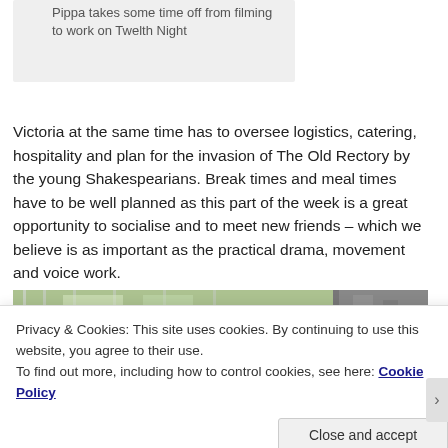Pippa takes some time off from filming to work on Twelth Night
Victoria at the same time has to oversee logistics, catering, hospitality and plan for the invasion of The Old Rectory by the young Shakespearians. Break times and meal times have to be well planned as this part of the week is a great opportunity to socialise and to meet new friends – which we believe is as important as the practical drama, movement and voice work.
[Figure (photo): Exterior photo showing windows/glass doors with green trees/garden visible]
Privacy & Cookies: This site uses cookies. By continuing to use this website, you agree to their use.
To find out more, including how to control cookies, see here: Cookie Policy
Close and accept